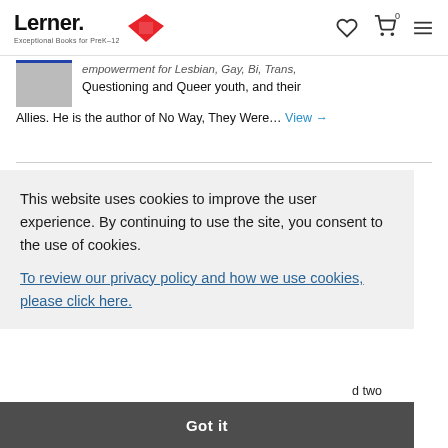Lerner — Exceptional Books for PreK-12
empowerment for Lesbian, Gay, Bi, Trans, Questioning and Queer youth, and their Allies. He is the author of No Way, They Were… View →
Erika Wittekind
This website uses cookies to improve the user experience. By continuing to use the site, you consent to the use of cookies. To review our privacy policy and how we use cookies, please click here.
Got it
d two children for many years. She received her